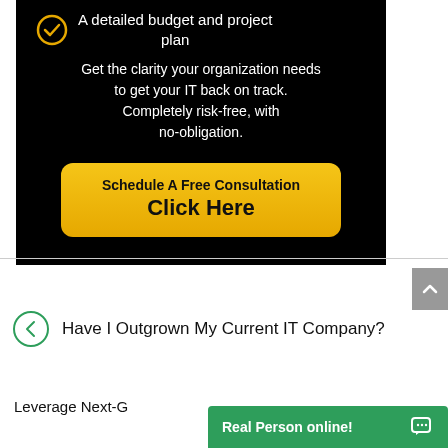A detailed budget and project plan
Get the clarity your organization needs to get your IT back on track. Completely risk-free, with no-obligation.
[Figure (other): Yellow CTA button with text 'Schedule A Free Consultation' and 'Click Here']
Have I Outgrown My Current IT Company?
Leverage Next-G...
Real Person online!